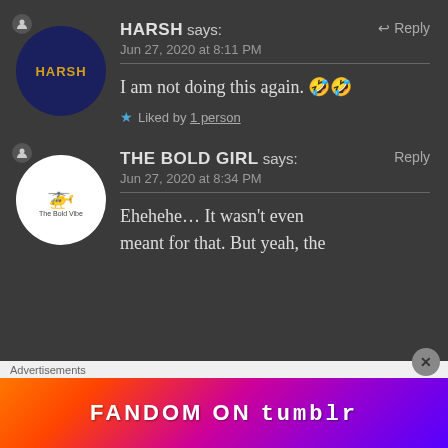HARSH says:
Jun 27, 2020 at 8:11 PM

I am not doing this again. 🤣🤣

★ Liked by 1 person
THE BOLD GIRL says:
Jun 27, 2020 at 8:34 PM

Ehehehe… It wasn't even meant for that. But yeah, the
Advertisements
FANDOM ON tumblr